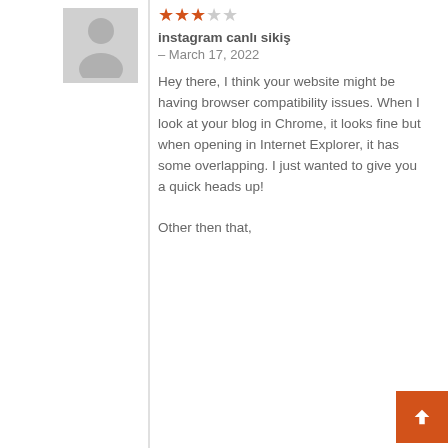[Figure (illustration): Placeholder avatar silhouette image in grey]
★★★☆☆
instagram canlı sikiş – March 17, 2022
Hey there, I think your website might be having browser compatibility issues. When I look at your blog in Chrome, it looks fine but when opening in Internet Explorer, it has some overlapping. I just wanted to give you a quick heads up!

Other then that,